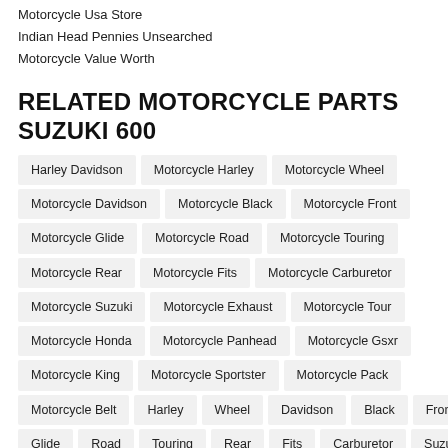Motorcycle Usa Store
Indian Head Pennies Unsearched
Motorcycle Value Worth
RELATED MOTORCYCLE PARTS SUZUKI 600
Harley Davidson | Motorcycle Harley | Motorcycle Wheel | Motorcycle Davidson | Motorcycle Black | Motorcycle Front | Motorcycle Glide | Motorcycle Road | Motorcycle Touring | Motorcycle Rear | Motorcycle Fits | Motorcycle Carburetor | Motorcycle Suzuki | Motorcycle Exhaust | Motorcycle Tour | Motorcycle Honda | Motorcycle Panhead | Motorcycle Gsxr | Motorcycle King | Motorcycle Sportster | Motorcycle Pack | Motorcycle Belt | Harley | Wheel | Davidson | Black | Front | Glide | Road | Touring | Rear | Fits | Carburetor | Suzuki